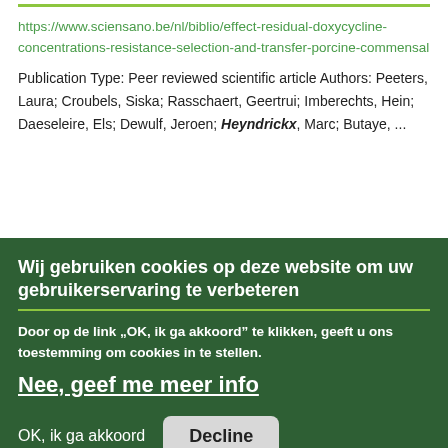https://www.sciensano.be/nl/biblio/effect-residual-doxycycline-concentrations-resistance-selection-and-transfer-porcine-commensal
Publication Type: Peer reviewed scientific article Authors: Peeters, Laura; Croubels, Siska; Rasschaert, Geertrui; Imberechts, Hein; Daeseleire, Els; Dewulf, Jeroen; Heyndrickx, Marc; Butaye, ...
Wij gebruiken cookies op deze website om uw gebruikerservaring te verbeteren
Door op de link „OK, ik ga akkoord” te klikken, geeft u ons toestemming om cookies in te stellen.
Nee, geef me meer info
OK, ik ga akkoord
Decline